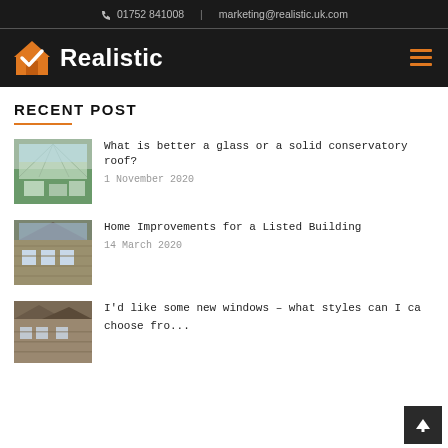📞 01752 841008  |  marketing@realistic.uk.com
[Figure (logo): Realistic logo with orange house checkmark icon and white Realistic wordmark on dark background, with orange hamburger menu icon on right]
RECENT POST
What is better a glass or a solid conservatory roof? — 1 November 2020
Home Improvements for a Listed Building — 14 March 2020
I'd like some new windows – what styles can I choose fro...